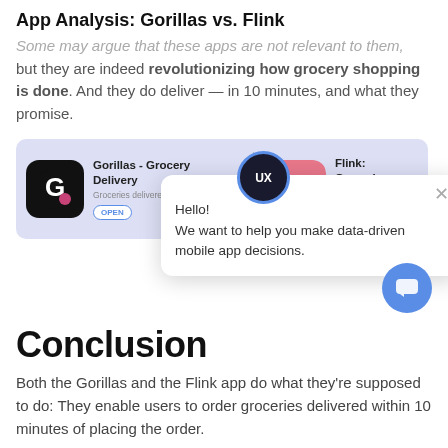App Analysis: Gorillas vs. Flink
Some may argue that these apps are not relevant to them, but they are indeed revolutionizing how grocery shopping is done. And they do deliver — in 10 minutes, and what they promise.
[Figure (screenshot): App store listings for Gorillas - Grocery Delivery and Flink: Groceries in 10min, shown side by side in a purple-tinted banner. A chat popup overlay with UX badge, close button, and message 'Hello! We want to help you make data-driven mobile app decisions.' A blue chat button in the bottom right.]
Conclusion
Both the Gorillas and the Flink app do what they're supposed to do: They enable users to order groceries delivered within 10 minutes of placing the order.